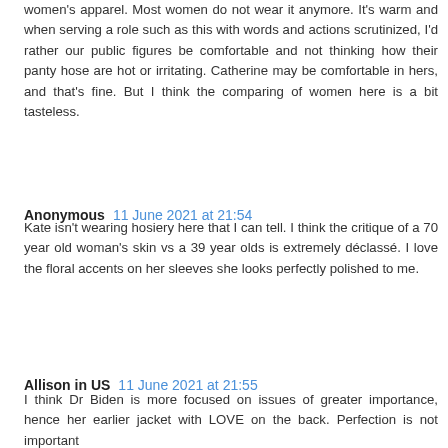women's apparel. Most women do not wear it anymore. It's warm and when serving a role such as this with words and actions scrutinized, I'd rather our public figures be comfortable and not thinking how their panty hose are hot or irritating. Catherine may be comfortable in hers, and that's fine. But I think the comparing of women here is a bit tasteless.
Anonymous  11 June 2021 at 21:54
Kate isn't wearing hosiery here that I can tell. I think the critique of a 70 year old woman's skin vs a 39 year olds is extremely déclassé. I love the floral accents on her sleeves she looks perfectly polished to me.
Allison in US  11 June 2021 at 21:55
I think Dr Biden is more focused on issues of greater importance, hence her earlier jacket with LOVE on the back. Perfection is not important